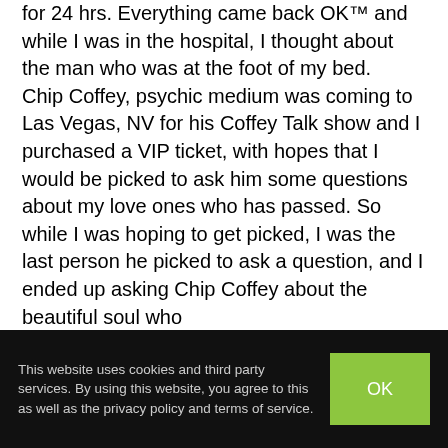for 24 hrs. Everything came back OK™ and while I was in the hospital, I thought about the man who was at the foot of my bed.

Chip Coffey, psychic medium was coming to Las Vegas, NV for his Coffey Talk show and I purchased a VIP ticket, with hopes that I would be picked to ask him some questions about my love ones who has passed. So while I was hoping to get picked, I was the last person he picked to ask a question, and I ended up asking Chip Coffey about the beautiful soul who
This website uses cookies and third party services. By using this website, you agree to this as well as the privacy policy and terms of service.